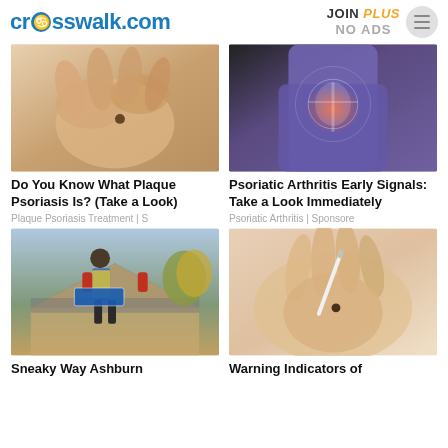crosswalk.com | JOIN PLUS NO ADS
[Figure (photo): Close-up of a hand touching skin with a mole on it]
Do You Know What Plaque Psoriasis Is? (Take a Look)
Plaque Psoriasis Treatment | S
[Figure (photo): Person in purple leggings showing hip/pelvis area with pain illustration overlay]
Psoriatic Arthritis Early Signals: Take a Look Immediately
Psoriatic Arthritis | Sponsore
[Figure (photo): Worker on a rooftop carrying materials, wearing yellow vest and red gloves]
Sneaky Way Ashburn
[Figure (photo): Close-up of skin with a mole being examined with a medical tool]
Warning Indicators of